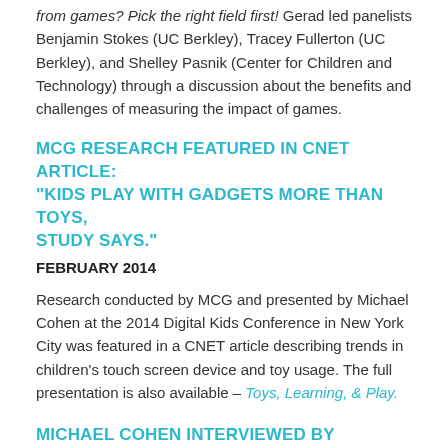from games? Pick the right field first! Gerad led panelists Benjamin Stokes (UC Berkley), Tracey Fullerton (UC Berkley), and Shelley Pasnik (Center for Children and Technology) through a discussion about the benefits and challenges of measuring the impact of games.
MCG RESEARCH FEATURED IN CNET ARTICLE: “KIDS PLAY WITH GADGETS MORE THAN TOYS, STUDY SAYS.”
FEBRUARY 2014
Research conducted by MCG and presented by Michael Cohen at the 2014 Digital Kids Conference in New York City was featured in a CNET article describing trends in children’s touch screen device and toy usage. The full presentation is also available – Toys, Learning, & Play.
MICHAEL COHEN INTERVIEWED BY TOYINFO.ORG
NOVEMBER 2013